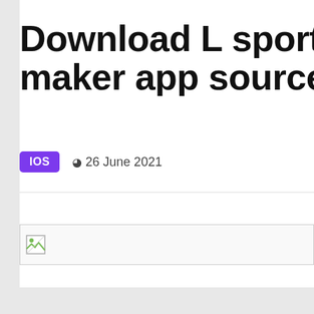Download L sport & diet maker app source code
IOS
26 June 2021
[Figure (photo): Broken image placeholder icon]